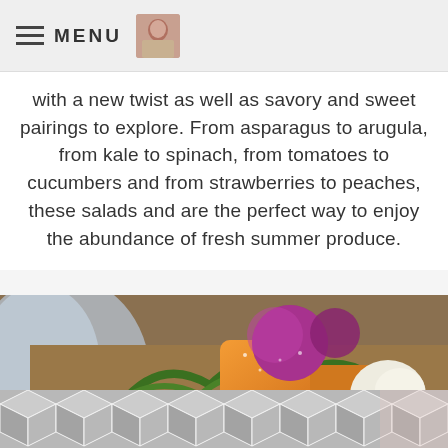MENU
with a new twist as well as savory and sweet pairings to explore. From asparagus to arugula, from kale to spinach, from tomatoes to cucumbers and from strawberries to peaches, these salads and are the perfect way to enjoy the abundance of fresh summer produce.
[Figure (photo): Close-up photo of a colorful salad bowl with roasted vegetables including orange squash, purple radishes, green leafy vegetables, and white mozzarella balls]
[Figure (illustration): Geometric hexagon/cube pattern in gray and white at the bottom of the page]